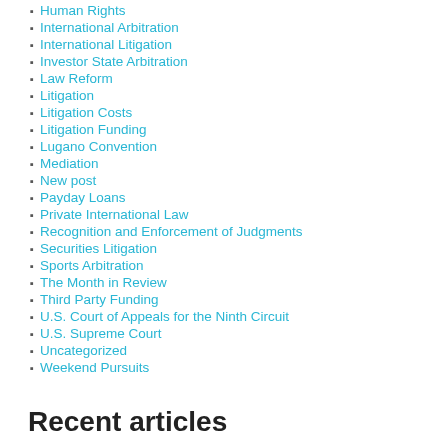Human Rights
International Arbitration
International Litigation
Investor State Arbitration
Law Reform
Litigation
Litigation Costs
Litigation Funding
Lugano Convention
Mediation
New post
Payday Loans
Private International Law
Recognition and Enforcement of Judgments
Securities Litigation
Sports Arbitration
The Month in Review
Third Party Funding
U.S. Court of Appeals for the Ninth Circuit
U.S. Supreme Court
Uncategorized
Weekend Pursuits
Recent articles
Hague Judgments Convention: Entry into Force on 1 September 2023